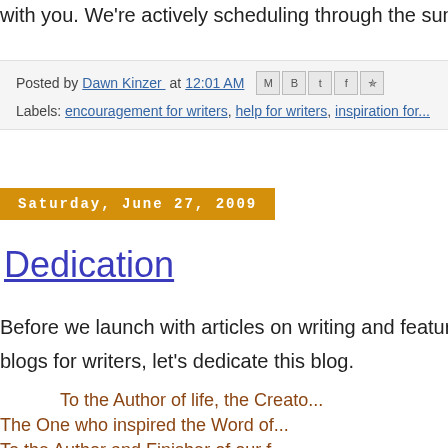with you. We're actively scheduling through the summe...
Posted by Dawn Kinzer at 12:01 AM
Labels: encouragement for writers, help for writers, inspiration for...
Saturday, June 27, 2009
Dedication
Before we launch with articles on writing and features o... blogs for writers, let's dedicate this blog.
To the Author of life, the Creato... The One who inspired the Word of... To the Author and Finisher of our f...